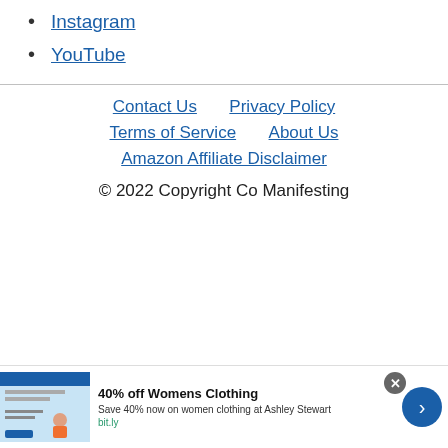Instagram
YouTube
Contact Us  Privacy Policy  Terms of Service  About Us  Amazon Affiliate Disclaimer
© 2022 Copyright Co Manifesting
[Figure (infographic): Advertisement banner: 40% off Womens Clothing at Ashley Stewart. Save 40% now on women clothing at Ashley Stewart. bit.ly]